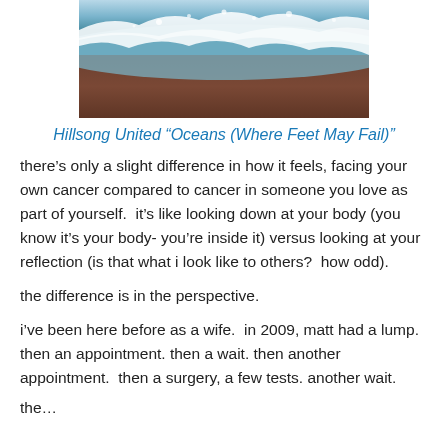[Figure (photo): Ocean waves crashing on a beach, with white foam and dark sand, top portion of image.]
Hillsong United “Oceans (Where Feet May Fail)”
there’s only a slight difference in how it feels, facing your own cancer compared to cancer in someone you love as part of yourself.  it’s like looking down at your body (you know it’s your body- you’re inside it) versus looking at your reflection (is that what i look like to others?  how odd).
the difference is in the perspective.
i’ve been here before as a wife.  in 2009, matt had a lump.  then an appointment. then a wait. then another appointment.  then a surgery, a few tests. another wait.
the…